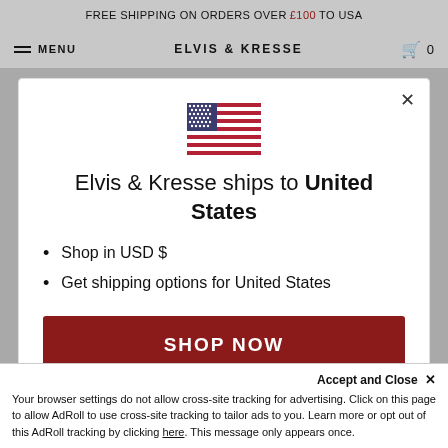FREE SHIPPING ON ORDERS OVER £100 TO USA
MENU   ELVIS & KRESSE
[Figure (illustration): US flag emoji/icon centered in modal]
Elvis & Kresse ships to United States
Shop in USD $
Get shipping options for United States
SHOP NOW
CHANGE SHIPPING COUNTRY
Accept and Close ×
Your browser settings do not allow cross-site tracking for advertising. Click on this page to allow AdRoll to use cross-site tracking to tailor ads to you. Learn more or opt out of this AdRoll tracking by clicking here. This message only appears once.